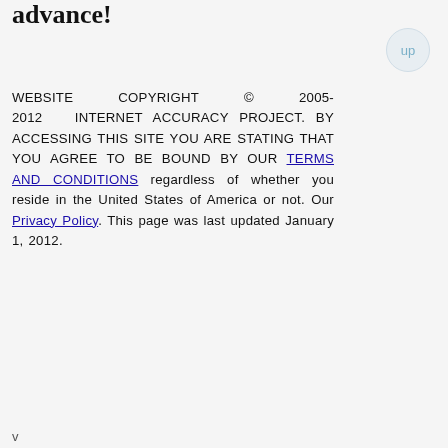advance!
Website Copyright © 2005-2012 INTERNET ACCURACY PROJECT. BY ACCESSING THIS SITE YOU ARE STATING THAT YOU AGREE TO BE BOUND BY OUR TERMS AND CONDITIONS regardless of whether you reside in the United States of America or not. Our Privacy Policy. This page was last updated January 1, 2012.